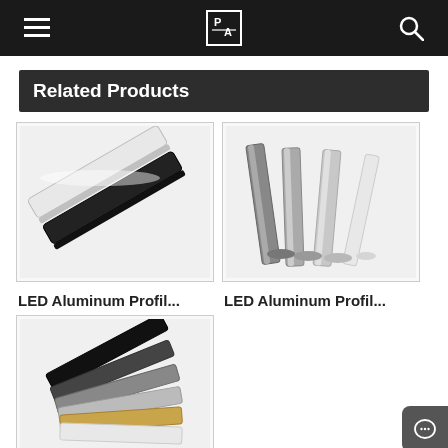Navigation bar with menu, logo, and search icons
Related Products
[Figure (photo): LED aluminum profile strip in white/black colors, two long rails side by side on white background]
LED Aluminum Profil...
[Figure (photo): LED aluminum profile strips in silver/chrome colors, multiple pieces fanned out on white background]
LED Aluminum Profil...
[Figure (photo): LED aluminum profile strips in multiple colors including black, grey, white, and gold/tan, stacked and fanned out]